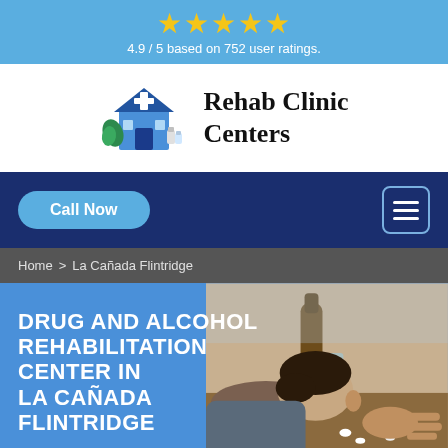[Figure (infographic): Five gold stars rating display with text: 4.9 / 5 based on 752 user ratings.]
[Figure (logo): Rehab Clinic Centers logo with illustrated clinic building icon and brand name text]
Call Now
Home > La Cañada Flintridge
DRUG AND ALCOHOL REHABILITATION CENTER IN LA CAÑADA FLINTRIDGE
[Figure (photo): Photo of a person slumped over a table with pill bottles and alcohol, depicting substance abuse]